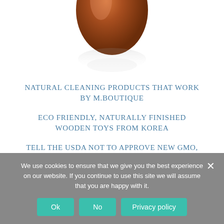[Figure (photo): Partial view of a dark amber glass bottle with reflection, cropped at top of page]
NATURAL CLEANING PRODUCTS THAT WORK BY M.BOUTIQUE
ECO FRIENDLY, NATURALLY FINISHED WOODEN TOYS FROM KOREA
TELL THE USDA NOT TO APPROVE NEW GMO, 2,4-D-RESISTANT CROPS AND STOP THE TIDE OF TOXINS BEING DUMPED ON OUR FOOD.
We use cookies to ensure that we give you the best experience on our website. If you continue to use this site we will assume that you are happy with it.